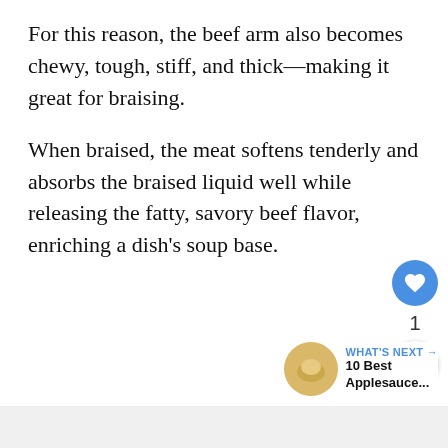For this reason, the beef arm also becomes chewy, tough, stiff, and thick—making it great for braising.
When braised, the meat softens tenderly and absorbs the braised liquid well while releasing the fatty, savory beef flavor, enriching a dish's soup base.
[Figure (other): UI overlay with heart/like button (blue circle with heart icon), count label '1', share button (white circle with share icon), and a 'WHAT'S NEXT' card showing a thumbnail and text '10 Best Applesauce...']